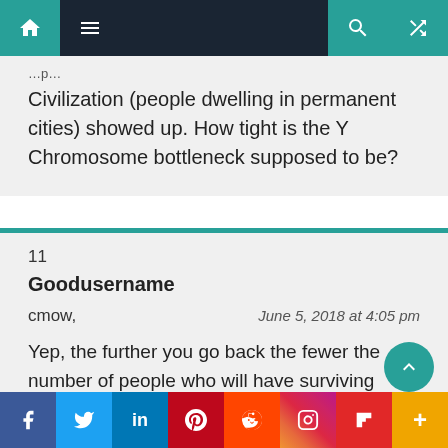Navigation bar with home, menu, search, and shuffle icons
Civilization (people dwelling in permanent cities) showed up. How tight is the Y Chromosome bottleneck supposed to be?
11
Goodusername
cmow,
June 5, 2018 at 4:05 pm

Yep, the further you go back the fewer the number of people who will have surviving descendants – but those that do have surviving descendants will have a lot.
Social share bar: Facebook, Twitter, LinkedIn, Pinterest, Reddit, Instagram, Flipboard, More